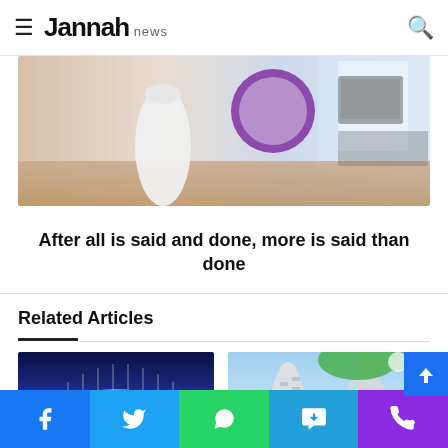Jannah news
[Figure (photo): A styled room/desk scene with a white vase, a round mirror with purple frame, and a monitor in a bright indoor setting]
After all is said and done, more is said than done
Related Articles
[Figure (photo): Illuminated arch bridge at night with pink/purple lighting against a dark blue sky]
[Figure (photo): Modern curved skyscraper tower with tree branches and blue sky in background]
Social share bar: Facebook, Twitter, WhatsApp, Telegram, Phone